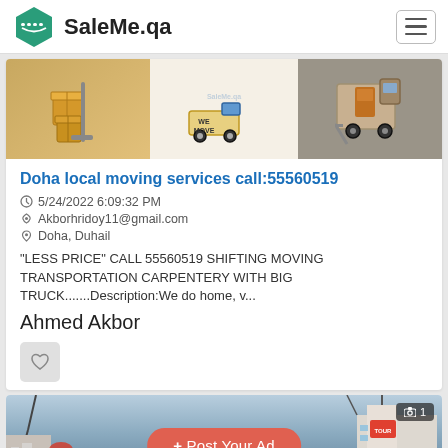SaleMe.qa
[Figure (photo): Moving service advertisement image showing cardboard boxes on trolley, 'We Move' sign with cartoon truck, and moving truck with ramp]
Doha local moving services call:55560519
5/24/2022 6:09:32 PM
Akborhridoy11@gmail.com
Doha, Duhail
"LESS PRICE" CALL 55560519 SHIFTING MOVING TRANSPORTATION CARPENTERY WITH BIG TRUCK.......Description:We do home, v...
Ahmed Akbor
[Figure (photo): Street scene with buildings, antennas, and a sign; partially visible at bottom of page]
+ Post Your Ad